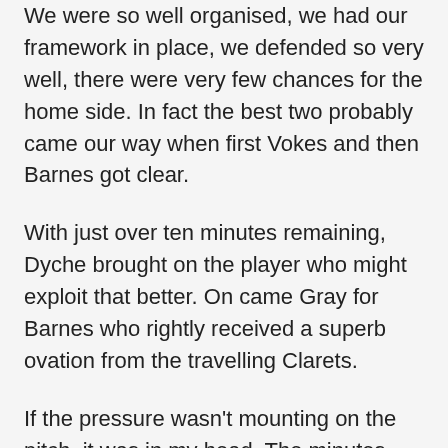We were so well organised, we had our framework in place, we defended so very well, there were very few chances for the home side. In fact the best two probably came our way when first Vokes and then Barnes got clear.
With just over ten minutes remaining, Dyche brought on the player who might exploit that better. On came Gray for Barnes who rightly received a superb ovation from the travelling Clarets.
If the pressure wasn't mounting on the pitch, it was in my head. The minutes ticked by and then Palace tried to play the ball forward but it got no further than George Boyd who played a superb left footed through ball for Gray. He moved forward and finished with a shot that was so close to Hennessey but one he could do nothing about.
The away fans just simply erupted as the players celebrated right in front. Surely, with only five minutes left